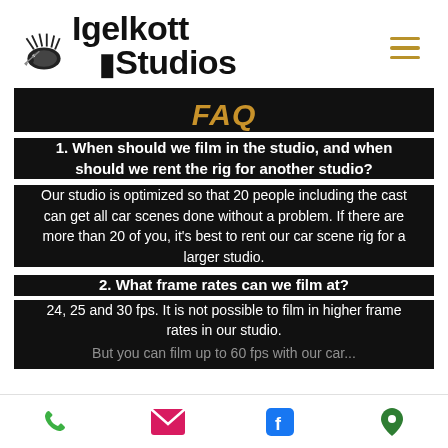Igelkott Studios [logo] [hamburger menu]
FAQ
1. When should we film in the studio, and when should we rent the rig for another studio?
Our studio is optimized so that 20 people including the cast can get all car scenes done without a problem. If there are more than 20 of you, it's best to rent our car scene rig for a larger studio.
2. What frame rates can we film at?
24, 25 and 30 fps. It is not possible to film in higher frame rates in our studio.
But you can film up to 60 fps with our car...
[phone] [email] [facebook] [location]